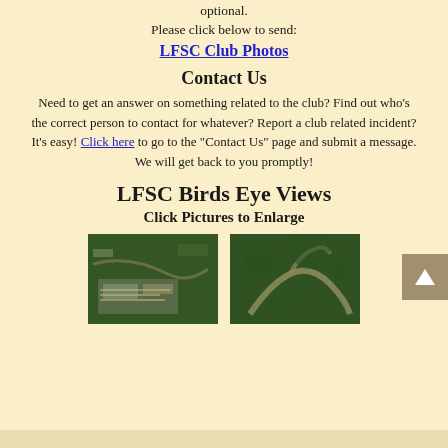optional.
Please click below to send:
LFSC Club Photos
Contact Us
Need to get an answer on something related to the club?  Find out who's the correct person to contact for whatever?  Report a club related incident?  It's easy!  Click here to go to the "Contact Us" page and submit a message.  We will get back to you promptly!
LFSC Birds Eye Views
Click Pictures to Enlarge
[Figure (photo): Aerial/birds eye view photo of LFSC club grounds showing shooting ranges and facilities from above, surrounded by trees]
[Figure (photo): Aerial/birds eye view photo of LFSC club grounds showing a curved road or trail through forested area from above]